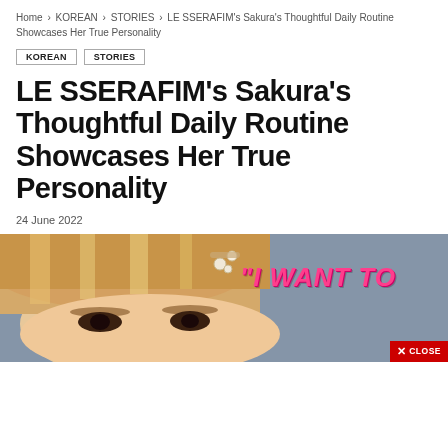Home > KOREAN > STORIES > LE SSERAFIM's Sakura's Thoughtful Daily Routine Showcases Her True Personality
KOREAN
STORIES
LE SSERAFIM's Sakura's Thoughtful Daily Routine Showcases Her True Personality
24 June 2022
[Figure (photo): Close-up photo of Sakura with blonde hair and pearl hair clip, with pink italic text overlay reading 'I WANT TO' and a red CLOSE button in the bottom right corner]